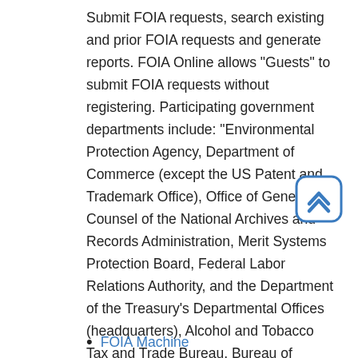Submit FOIA requests, search existing and prior FOIA requests and generate reports. FOIA Online allows "Guests" to submit FOIA requests without registering. Participating government departments include: "Environmental Protection Agency, Department of Commerce (except the US Patent and Trademark Office), Office of General Counsel of the National Archives and Records Administration, Merit Systems Protection Board, Federal Labor Relations Authority, and the Department of the Treasury's Departmental Offices (headquarters), Alcohol and Tobacco Tax and Trade Bureau, Bureau of Engraving and Printing, Bureau of the Fiscal Service, Financial Crimes Enforcement Network (FinCEN), and United States Mint."
FOIA Machine